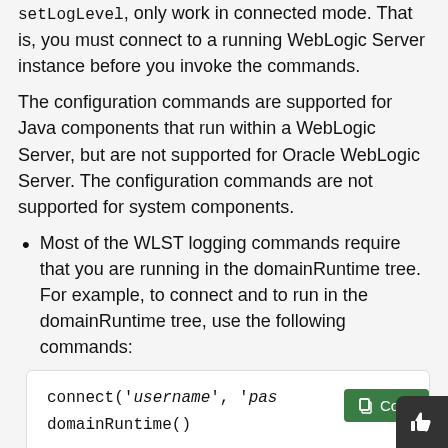setLogLevel, only work in connected mode. That is, you must connect to a running WebLogic Server instance before you invoke the commands.
The configuration commands are supported for Java components that run within a WebLogic Server, but are not supported for Oracle WebLogic Server. The configuration commands are not supported for system components.
Most of the WLST logging commands require that you are running in the domainRuntime tree. For example, to connect and to run in the domainRuntime tree, use the following commands:
[Figure (screenshot): Code block showing: connect('username', 'pas[sword]', 'oc') on first line and domainRuntime() on second line, with a green Copy button overlaid on top right]
The listLoggers, getLogLevel, and